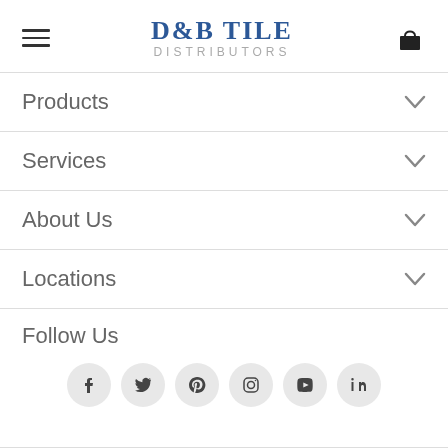D&B TILE DISTRIBUTORS
Products
Services
About Us
Locations
Follow Us
[Figure (illustration): Social media icons in light grey circles: Facebook, Twitter, Pinterest, Instagram, YouTube, LinkedIn]